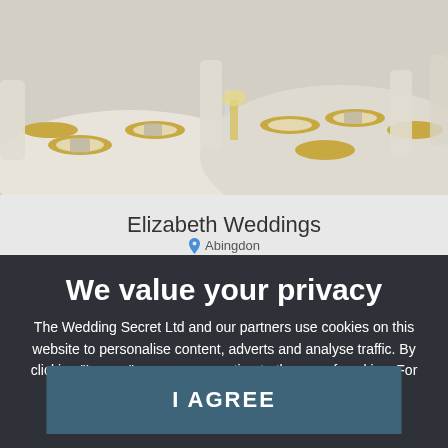[Figure (photo): Wedding reception table setting with gold charger plates, white tablecloth, chiavari chairs, and glassware arranged for a formal dinner.]
Elizabeth Weddings
Abingdon
We value your privacy
The Wedding Secret Ltd and our partners use cookies on this website to personalise content, adverts and analyse traffic. By clicking "I agree" you are consenting to the use of cookies. For more information, please review our cookie policy.
I AGREE